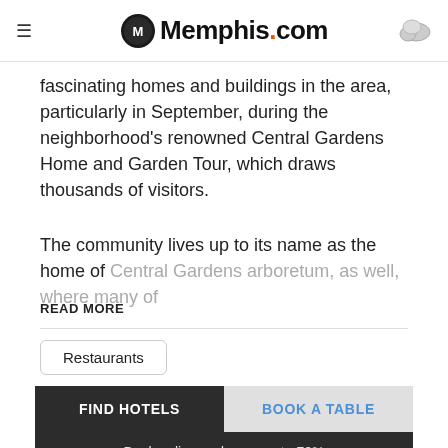Memphis.com
fascinating homes and buildings in the area, particularly in September, during the neighborhood's renowned Central Gardens Home and Garden Tour, which draws thousands of visitors.
The community lives up to its name as the home of Central Gardens arboretum, as well, where many of
READ MORE
Restaurants
FIND HOTELS
BOOK A TABLE
Book online and save up to 70%
Lowest Rates Guaranteed
Check In 08/26/2022
Check Out 08/28/2022